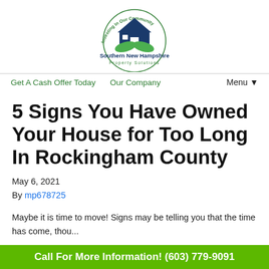[Figure (logo): Southern New Hampshire Property Solutions logo: house icon with hands, circular text 'Investing In Our Community', blue and green colors, company name below]
Get A Cash Offer Today   Our Company   Menu ▼
5 Signs You Have Owned Your House for Too Long In Rockingham County
May 6, 2021
By mp678725
Maybe it is time to move! Signs may be telling you that the time has come, thou...
Call For More Information! (603) 779-9091